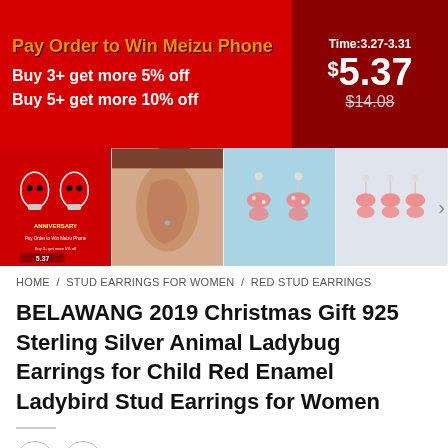[Figure (infographic): Promotional banner: red background with text 'Pay Order to Win Meizu Phone', 'Buy 3+ get more 5% off', 'Buy 5+ get more 10% off', dark red section with Time:3.27-3.31, price $5.37, original price $14.08]
[Figure (photo): Four product thumbnail images showing ladybug earrings and butterfly earrings, with a forward arrow on the right]
HOME / STUD EARRINGS FOR WOMEN / RED STUD EARRINGS
BELAWANG 2019 Christmas Gift 925 Sterling Silver Animal Ladybug Earrings for Child Red Enamel Ladybird Stud Earrings for Women
[Figure (other): Navigation buttons: left arrow circle and right arrow circle]